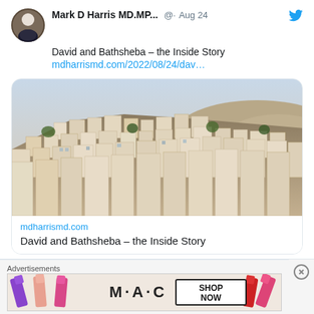Mark D Harris MD.MP... · Aug 24
David and Bathsheba – the Inside Story
mdharrismd.com/2022/08/24/dav...
[Figure (photo): Aerial view of densely built hillside city with white/tan stone buildings, likely Jerusalem or a Middle Eastern city, taken from a high vantage point showing rooftops and hillside terrain]
mdharrismd.com
David and Bathsheba – the Inside Story
Advertisements